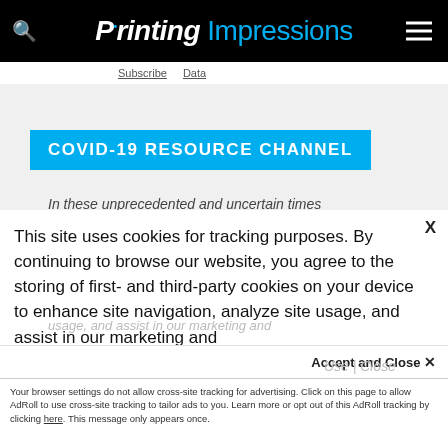Printing Impressions
Subscribe  Data
COVID-19 RESOURCE CHANNEL
In these unprecedented and uncertain times
This site uses cookies for tracking purposes. By continuing to browse our website, you agree to the storing of first- and third-party cookies on your device to enhance site navigation, analyze site usage, and assist in our marketing and
Accept and Close ✕
Your browser settings do not allow cross-site tracking for advertising. Click on this page to allow AdRoll to use cross-site tracking to tailor ads to you. Learn more or opt out of this AdRoll tracking by clicking here. This message only appears once.